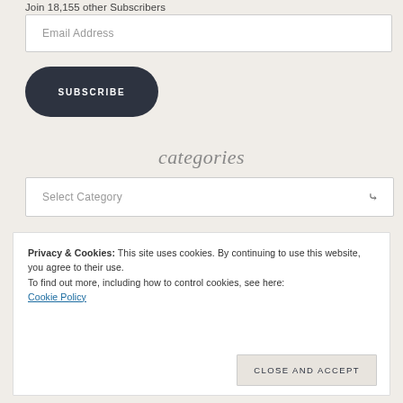Join 18,155 other Subscribers
Email Address
SUBSCRIBE
categories
Select Category
Privacy & Cookies: This site uses cookies. By continuing to use this website, you agree to their use.
To find out more, including how to control cookies, see here:
Cookie Policy
Close and accept